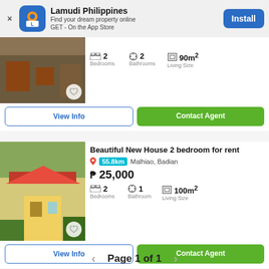[Figure (screenshot): Lamudi Philippines app banner with logo, tagline, and Install button]
[Figure (photo): Partial photo of a house listing with wooden gate]
2 Bedrooms | 2 Bathrooms | 90m² Living Size
View Info | Contact Agent
Beautiful New House 2 bedroom for rent
55.8km Malhiao, Badian
₱ 25,000
2 Bedrooms | 1 Bathroom | 100m² Living Size
[Figure (photo): Photo of a yellow bungalow house with garden and driveway]
View Info | Contact Agent
Page 1 of 1